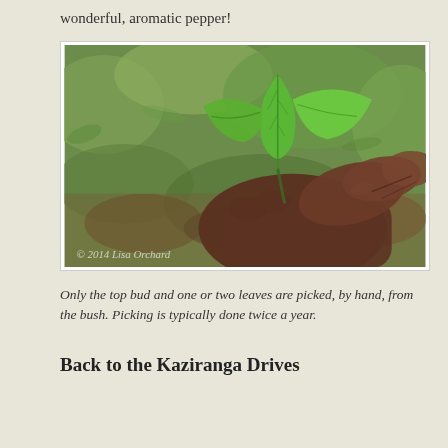wonderful, aromatic pepper!
[Figure (photo): A close-up photograph of a hand holding fresh green tea leaves (top bud and one or two young leaves). The background shows blurred green foliage and brown earth. A watermark reads '© 2014 Lisa Orchard'.]
Only the top bud and one or two leaves are picked, by hand, from the bush. Picking is typically done twice a year.
Back to the Kaziranga Drives